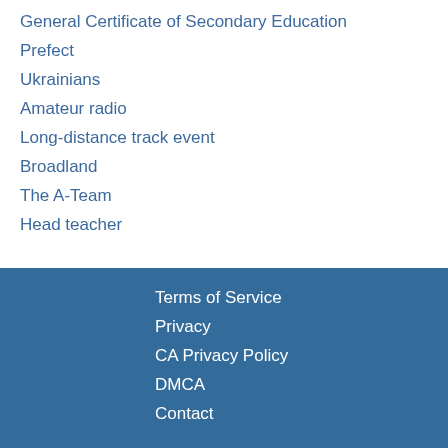General Certificate of Secondary Education
Prefect
Ukrainians
Amateur radio
Long-distance track event
Broadland
The A-Team
Head teacher
Terms of Service
Privacy
CA Privacy Policy
DMCA
Contact